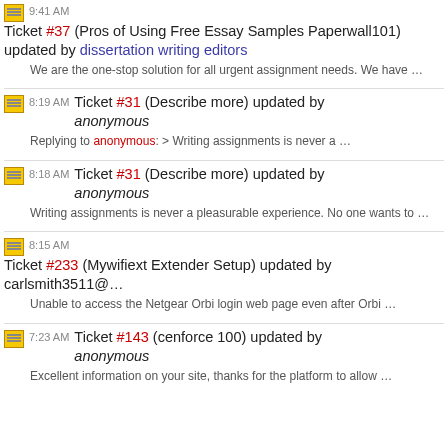9:41 AM Ticket #37 (Pros of Using Free Essay Samples Paperwall101) updated by dissertation writing editors
We are the one-stop solution for all urgent assignment needs. We have …
8:19 AM Ticket #31 (Describe more) updated by anonymous
Replying to anonymous: > Writing assignments is never a …
8:18 AM Ticket #31 (Describe more) updated by anonymous
Writing assignments is never a pleasurable experience. No one wants to …
8:15 AM Ticket #233 (Mywifiext Extender Setup) updated by carlsmith3511@…
Unable to access the Netgear Orbi login web page even after Orbi …
7:23 AM Ticket #143 (cenforce 100) updated by anonymous
Excellent information on your site, thanks for the platform to allow …